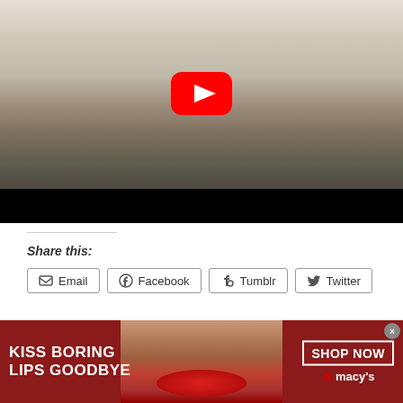[Figure (screenshot): YouTube video thumbnail showing a woman in lingerie standing by windows with sheer curtains, with a large YouTube play button overlay. Bottom portion has a black bar.]
Share this:
[Figure (infographic): Share buttons row with icons: Email, Facebook, Tumblr, Twitter]
[Figure (photo): Macy's advertisement banner: 'KISS BORING LIPS GOODBYE' with a close-up of a woman with red lips, and 'SHOP NOW ★ macy's' button on the right. Red background.]